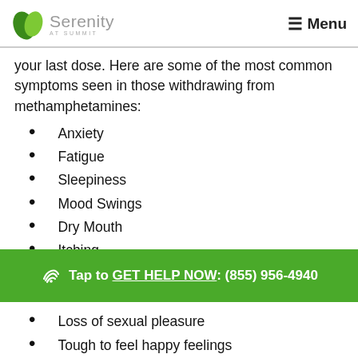Serenity at Summit | Menu
your last dose. Here are some of the most common symptoms seen in those withdrawing from methamphetamines:
Anxiety
Fatigue
Sleepiness
Mood Swings
Dry Mouth
Itching
High Blood Pressure
Mild Paranoia
Loss of sexual pleasure
Tough to feel happy feelings
Tap to GET HELP NOW: (855) 956-4940